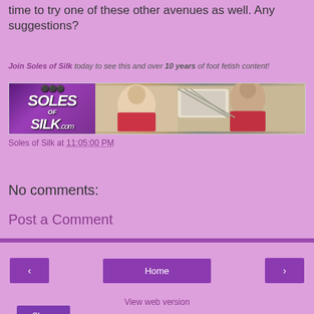time to try one of these other avenues as well. Any suggestions?
Join Soles of Silk today to see this and over 10 years of foot fetish content!
[Figure (photo): Soles of Silk website banner showing logo and two smiling women outdoors near a soccer net]
Soles of Silk at 11:05:00 PM
Share
No comments:
Post a Comment
< Home > View web version